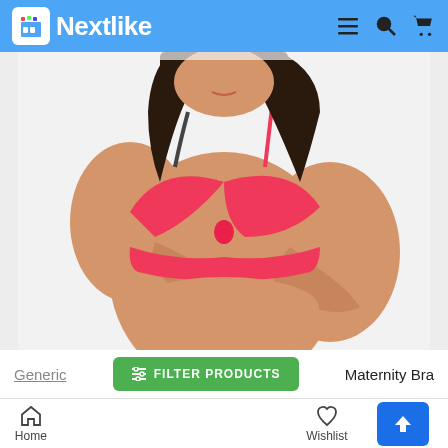[Figure (logo): Nextlike marketplace logo with shopping bag icon on blue background]
[Figure (photo): Woman wearing a pink cotton maternity bra, posed with hands crossed over chest, dark hair, against white background]
Generic
FILTER PRODUCTS
Maternity Bra
Generic Women's Cotton Blend Mother Care Full Co
Home   Wishlist